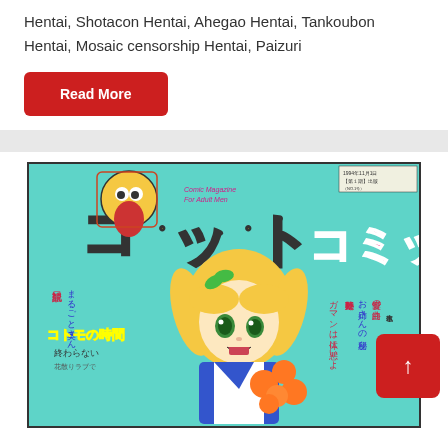Hentai, Shotacon Hentai, Ahegao Hentai, Tankoubon Hentai, Mosaic censorship Hentai, Paizuri
Read More
[Figure (photo): Manga magazine cover featuring an anime-style blonde girl holding fruits, with Japanese text and colorful title graphics. Comic Magazine For Adult Men. Title appears to be コットンコミック (Cotton Comic).]